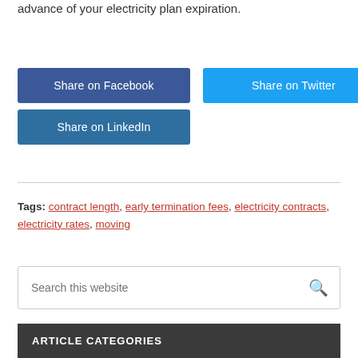advance of your electricity plan expiration.
[Figure (other): Social share buttons: Share on Facebook (dark blue), Share on Twitter (light blue), Share on LinkedIn (medium blue)]
Tags: contract length, early termination fees, electricity contracts, electricity rates, moving
[Figure (other): Search box with placeholder text 'Search this website' and a magnifying glass icon]
ARTICLE CATEGORIES